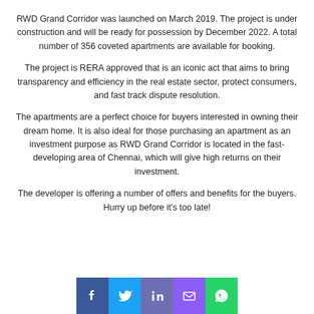RWD Grand Corridor was launched on March 2019. The project is under construction and will be ready for possession by December 2022. A total number of 356 coveted apartments are available for booking.
The project is RERA approved that is an iconic act that aims to bring transparency and efficiency in the real estate sector, protect consumers, and fast track dispute resolution.
The apartments are a perfect choice for buyers interested in owning their dream home. It is also ideal for those purchasing an apartment as an investment purpose as RWD Grand Corridor is located in the fast-developing area of Chennai, which will give high returns on their investment.
The developer is offering a number of offers and benefits for the buyers. Hurry up before it's too late!